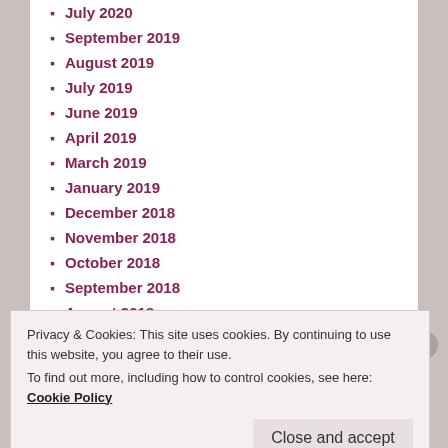July 2020
September 2019
August 2019
July 2019
June 2019
April 2019
March 2019
January 2019
December 2018
November 2018
October 2018
September 2018
August 2018
July 2018
June 2018
Privacy & Cookies: This site uses cookies. By continuing to use this website, you agree to their use. To find out more, including how to control cookies, see here: Cookie Policy